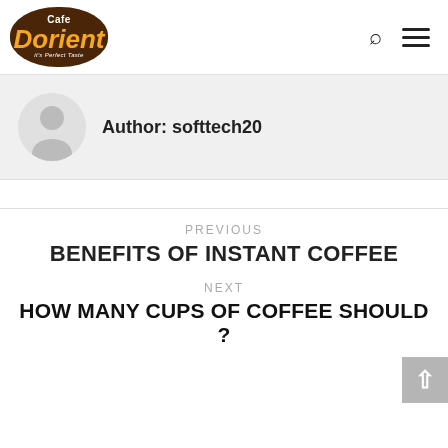[Figure (logo): Cafe Dorient logo — brown oval with 'Cafe' in white, 'Dorient' in orange italic, tagline 'It's Perfect Taste' in white]
Author: softtech20
[Figure (illustration): Grey circular avatar with generic silhouette person icon]
PREVIOUS
BENEFITS OF INSTANT COFFEE
NEXT
HOW MANY CUPS OF COFFEE SHOULD ?